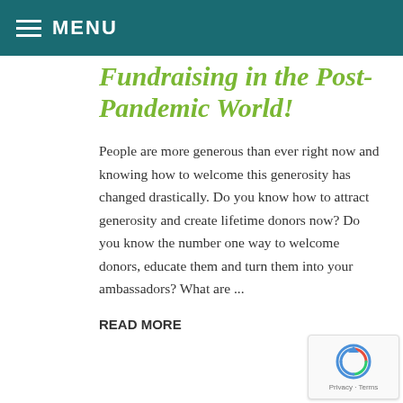MENU
Fundraising in the Post-Pandemic World!
People are more generous than ever right now and knowing how to welcome this generosity has changed drastically. Do you know how to attract generosity and create lifetime donors now? Do you know the number one way to welcome donors, educate them and turn them into your ambassadors? What are ...
READ MORE